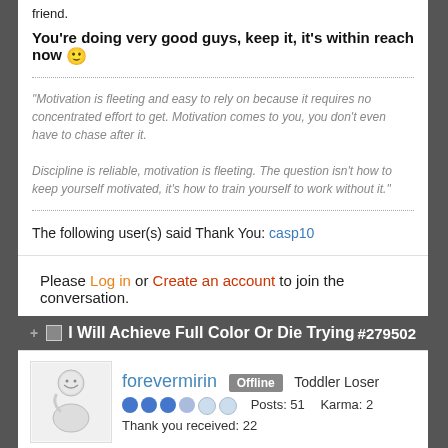friend.
You're doing very good guys, keep it, it's within reach now 🙂
"Motivation is fleeting and easy to rely on because it requires no concentrated effort to get. Motivation comes to you, you don't even have to chase after it.

Discipline is reliable, motivation is fleeting. The question isn't how to keep yourself motivated, it's how to train yourself to work without it."
The following user(s) said Thank You: casp10
Please Log in or Create an account to join the conversation.
I Will Achieve Full Color Or Die Trying #279502
forevermirin  Offline  Toddler Loser  Posts: 51  Karma: 2  Thank you received: 22
CONGRATS ON THE SALE! You really motivate me to work hard. And, it's awesome to see your site grow.